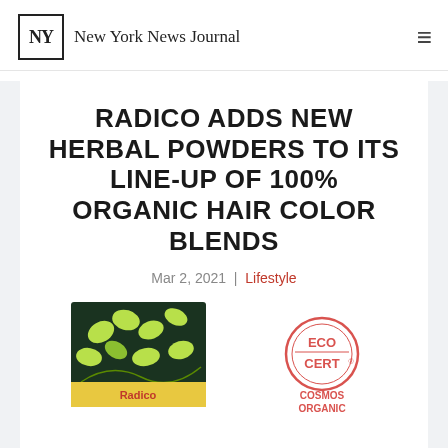NY New York News Journal
RADICO ADDS NEW HERBAL POWDERS TO ITS LINE-UP OF 100% ORGANIC HAIR COLOR BLENDS
Mar 2, 2021  |  Lifestyle
[Figure (photo): Radico herbal hair color product box with dark green and yellow-green leaf design]
[Figure (logo): ECOCERT COSMOS ORGANIC certification logo in pink/red circle]